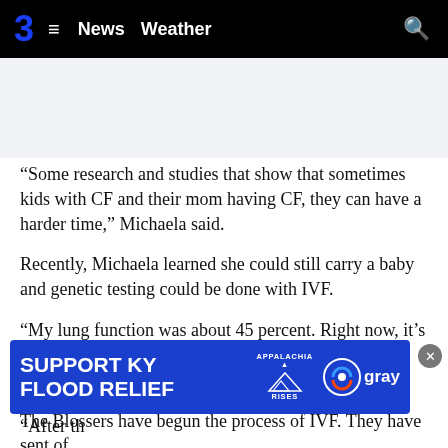3 ≡ News Weather 🔍
“Some research and studies that show that sometimes kids with CF and their mom having CF, they can have a harder time,” Michaela said.
Recently, Michaela learned she could still carry a baby and genetic testing could be done with IVF.
“My lung function was about 45 percent. Right now, it’s 60 percent, so I would still be considered a high-risk pregnancy, but it’s a lot less of a risk,” Michaela said.
The Blossers have begun the process of IVF. They have sent of
[Figure (infographic): Advertisement banner: SUPPORT KY FLOOD RELIEF with Appalachia Rises and Gray logos]
“After the [cut off]